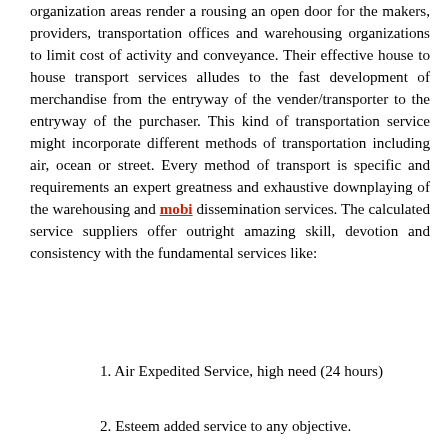organization areas render a rousing an open door for the makers, providers, transportation offices and warehousing organizations to limit cost of activity and conveyance. Their effective house to house transport services alludes to the fast development of merchandise from the entryway of the vender/transporter to the entryway of the purchaser. This kind of transportation service might incorporate different methods of transportation including air, ocean or street. Every method of transport is specific and requirements an expert greatness and exhaustive downplaying of the warehousing and mobi dissemination services. The calculated service suppliers offer outright amazing skill, devotion and consistency with the fundamental services like:
1. Air Expedited Service, high need (24 hours)
2. Esteem added service to any objective.